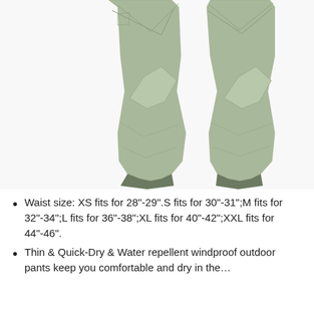[Figure (photo): Two olive/army green pants legs shown front view, displaying the texture and cut of outdoor tactical pants. Light grey-green color with angular knee panels and cuffed ankles with darker accent trim at the hem.]
Waist size: XS fits for 28"-29".S fits for 30"-31";M fits for 32"-34";L fits for 36"-38";XL fits for 40"-42";XXL fits for 44"-46".
Thin & Quick-Dry & Water repellent windproof outdoor pants keep you comfortable and dry in the ...